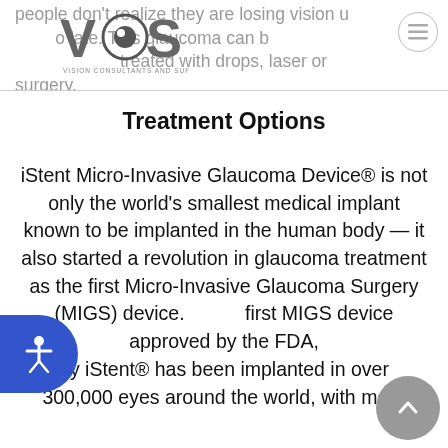people don't realize they are losing vision until it's too late. This glaucoma can be treated with drops, laser or surgery.
[Figure (logo): VCS Vision Consultants and Surgeons logo — stylized eye with VCS letters and subtitle text]
Treatment Options
iStent Micro-Invasive Glaucoma Device® is not only the world's smallest medical implant known to be implanted in the human body — it also started a revolution in glaucoma treatment as the first Micro-Invasive Glaucoma Surgery (MIGS) device. first MIGS device approved by the FDA, ay iStent® has been implanted in over 300,000 eyes around the world, with more